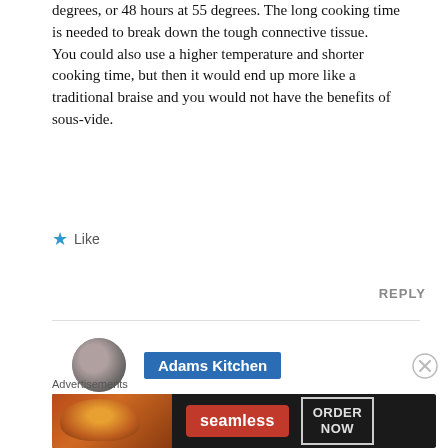degrees, or 48 hours at 55 degrees. The long cooking time is needed to break down the tough connective tissue.
You could also use a higher temperature and shorter cooking time, but then it would end up more like a traditional braise and you would not have the benefits of sous-vide.
Like
REPLY
Adams Kitchen
Advertisements
[Figure (screenshot): Seamless food delivery advertisement banner with pizza image, seamless logo in red, and ORDER NOW button]